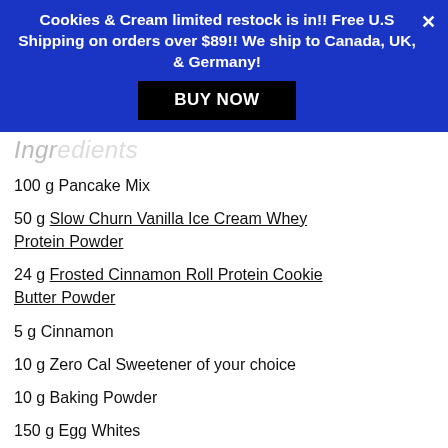Cookies & Cream limited restock is in!! Free U.S Shipping on orders over $89!! We ship to Canada, UK, & Germany!
BUY NOW
Ingr...
100 g Pancake Mix
50 g Slow Churn Vanilla Ice Cream Whey Protein Powder
24 g Frosted Cinnamon Roll Protein Cookie Butter Powder
5 g Cinnamon
10 g Zero Cal Sweetener of your choice
10 g Baking Powder
150 g Egg Whites
Protein Icing
15 g Slow Churn Vanilla Ice Cream